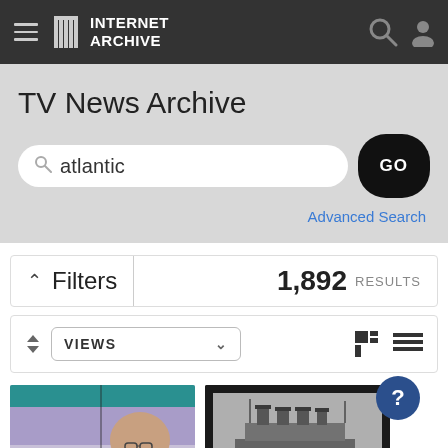INTERNET ARCHIVE
TV News Archive
atlantic
GO
Advanced Search
Filters  1,892 RESULTS
VIEWS
[Figure (screenshot): TV news clip thumbnail showing a news anchor with purple/blue studio background]
[Figure (photo): Black and white photograph of a large ocean liner ship (likely the Titanic or similar vessel) at sea]